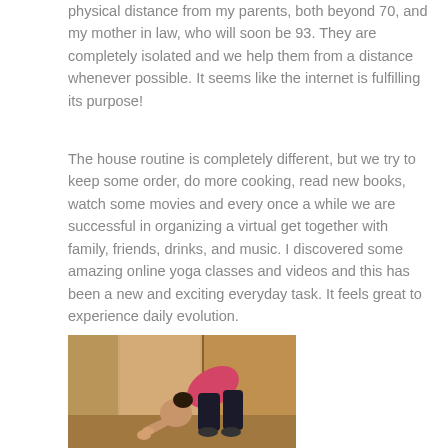physical distance from my parents, both beyond 70, and my mother in law, who will soon be 93. They are completely isolated and we help them from a distance whenever possible. It seems like the internet is fulfilling its purpose!
The house routine is completely different, but we try to keep some order, do more cooking, read new books, watch some movies and every once a while we are successful in organizing a virtual get together with family, friends, drinks, and music. I discovered some amazing online yoga classes and videos and this has been a new and exciting everyday task. It feels great to experience daily evolution.
[Figure (photo): A person doing a yoga pose, bending forward with hands near the floor, wearing a pink top and black pants, in a room with wooden sliding doors.]